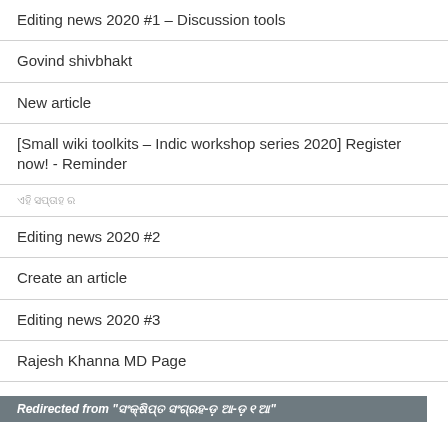Editing news 2020 #1 – Discussion tools
Govind shivbhakt
New article
[Small wiki toolkits – Indic workshop series 2020] Register now! - Reminder
ଏହି ସପ୍ତାହ ର
Editing news 2020 #2
Create an article
Editing news 2020 #3
Rajesh Khanna MD Page
Editing news 2020 #4